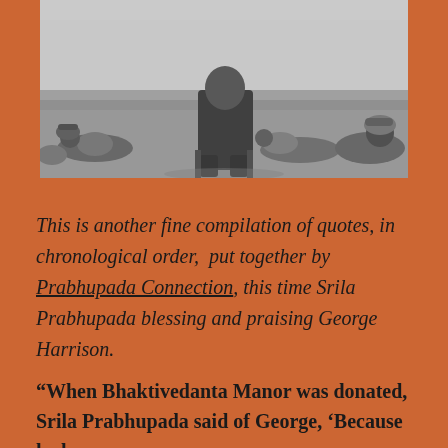[Figure (photo): Black and white photograph showing a person seated on a chair surrounded by several people lying or sitting on grass, appears to be an outdoor gathering scene]
This is another fine compilation of quotes, in chronological order, put together by Prabhupada Connection, this time Srila Prabhupada blessing and praising George Harrison.
“When Bhaktivedanta Manor was donated, Srila Prabhupada said of George, ‘Because he has